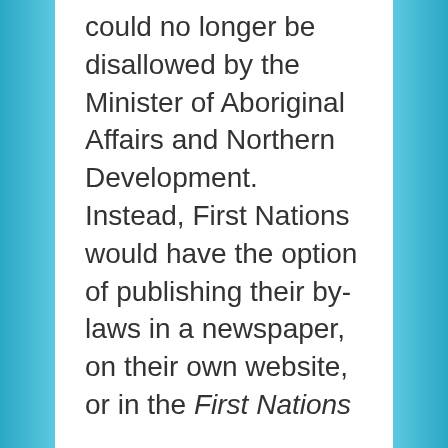could no longer be disallowed by the Minister of Aboriginal Affairs and Northern Development. Instead, First Nations would have the option of publishing their by-laws in a newspaper, on their own website, or in the First Nations